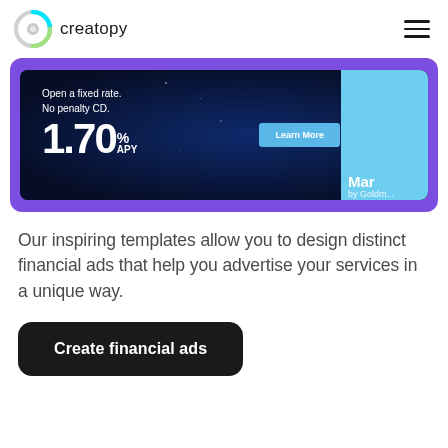[Figure (screenshot): Creatopy website header with logo (circular gradient icon and 'creatopy' text) and hamburger menu icon on the right]
[Figure (screenshot): Financial advertisement banner showing '1.70% APY' for a fixed rate no penalty CD, with a 'Learn More' button, on a dark blue and purple background with a light blue right panel showing 'Marc' brand]
Our inspiring templates allow you to design distinct financial ads that help you advertise your services in a unique way.
[Figure (screenshot): Black rounded button with white text reading 'Create financial ads']